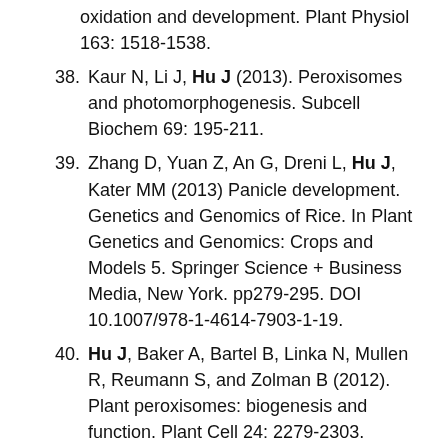oxidation and development. Plant Physiol 163: 1518-1538.
38. Kaur N, Li J, Hu J (2013). Peroxisomes and photomorphogenesis. Subcell Biochem 69: 195-211.
39. Zhang D, Yuan Z, An G, Dreni L, Hu J, Kater MM (2013) Panicle development. Genetics and Genomics of Rice. In Plant Genetics and Genomics: Crops and Models 5. Springer Science + Business Media, New York. pp279-295. DOI 10.1007/978-1-4614-7903-1-19.
40. Hu J, Baker A, Bartel B, Linka N, Mullen R, Reumann S, and Zolman B (2012). Plant peroxisomes: biogenesis and function. Plant Cell 24: 2279-2303.
41. Hu J and Hawes C (2012). Recent advances